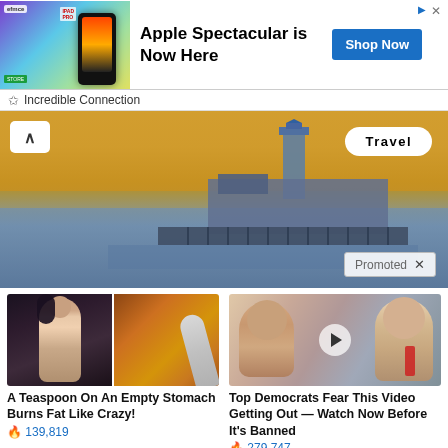[Figure (screenshot): Advertisement banner for Apple with phone image and purple/teal gradient background]
Apple Spectacular is Now Here
Shop Now
Incredible Connection
[Figure (photo): Hero image of a pier/lighthouse structure over water at sunset with golden/blue tones. Travel badge overlay. Promoted label.]
[Figure (photo): Sponsored content card: woman showing abs next to spoon with spice powder]
A Teaspoon On An Empty Stomach Burns Fat Like Crazy!
🔥 139,819
[Figure (photo): Sponsored content card: video thumbnail of two people with play button overlay]
Top Democrats Fear This Video Getting Out — Watch Now Before It's Banned
🔥 279,747